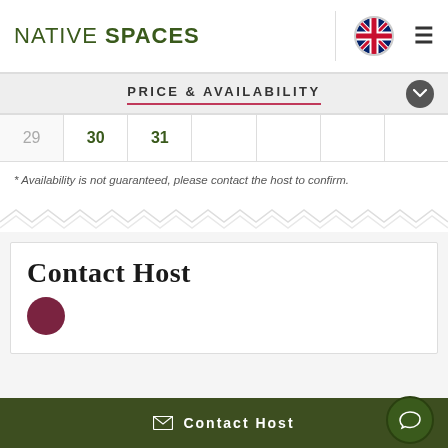NATIVE SPACES
PRICE & AVAILABILITY
| 29 | 30 | 31 |  |  |  |  |
| --- | --- | --- | --- | --- | --- | --- |
* Availability is not guaranteed, please contact the host to confirm.
Contact Host
Contact Host